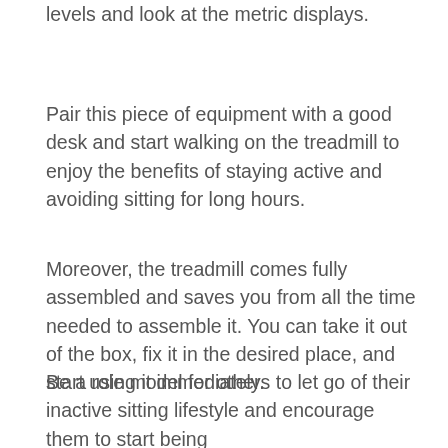levels and look at the metric displays.
Pair this piece of equipment with a good desk and start walking on the treadmill to enjoy the benefits of staying active and avoiding sitting for long hours.
Moreover, the treadmill comes fully assembled and saves you from all the time needed to assemble it. You can take it out of the box, fix it in the desired place, and start using it immediately.
Be a role model for others to let go of their inactive sitting lifestyle and encourage them to start being